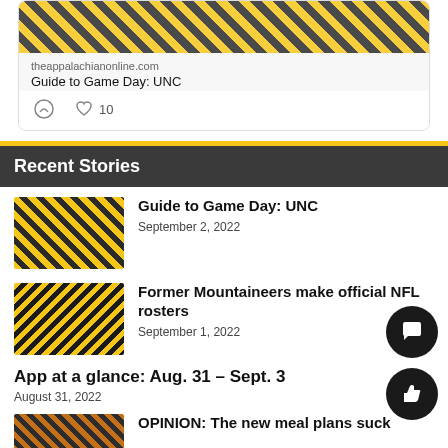[Figure (photo): Social media card with a photo of fans in black and gold, showing theappalachianonline.com link and 'Guide to Game Day: UNC' title with comment and like icons (10 likes)]
theappalachianonline.com
Guide to Game Day: UNC
10
Recent Stories
[Figure (photo): Thumbnail of fans in black and gold appalachian state colors at a game]
Guide to Game Day: UNC
September 2, 2022
[Figure (photo): Thumbnail of Appalachian State football player in black and gold uniform]
Former Mountaineers make official NFL rosters
September 1, 2022
App at a glance: Aug. 31 – Sept. 3
August 31, 2022
[Figure (photo): Thumbnail of food/meal plan related image]
OPINION: The new meal plans suck